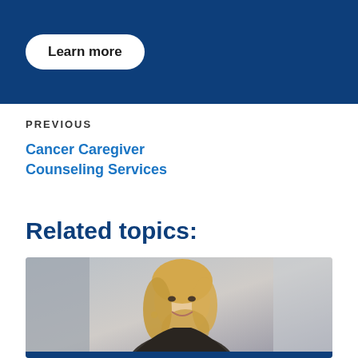[Figure (other): Dark blue banner with a white rounded 'Learn more' button]
PREVIOUS
Cancer Caregiver Counseling Services
Related topics:
[Figure (photo): A smiling blonde woman in a dark jacket, photographed indoors with a blurred background]